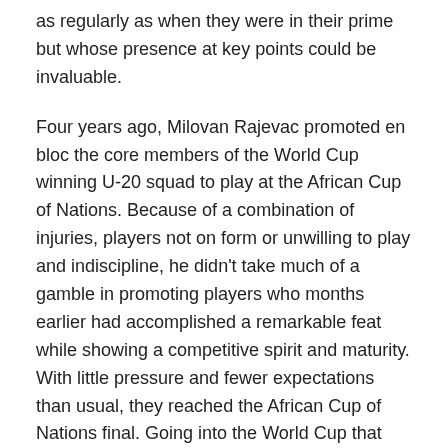as regularly as when they were in their prime but whose presence at key points could be invaluable.
Four years ago, Milovan Rajevac promoted en bloc the core members of the World Cup winning U-20 squad to play at the African Cup of Nations. Because of a combination of injuries, players not on form or unwilling to play and indiscipline, he didn't take much of a gamble in promoting players who months earlier had accomplished a remarkable feat while showing a competitive spirit and maturity. With little pressure and fewer expectations than usual, they reached the African Cup of Nations final. Going into the World Cup that year, Rajevac ostensibly had his squad filled out by the time he announced it. There weren't going to be many shocks.
This squad has been formed out of different